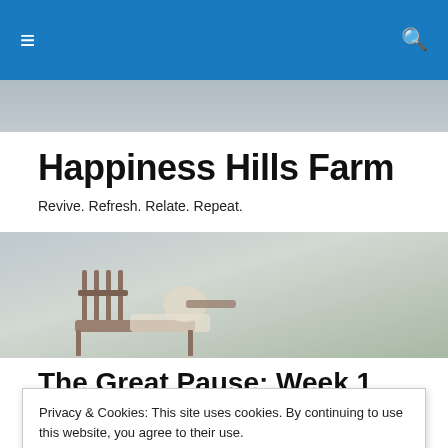≡  🔍
[Figure (photo): Narrow horizontal strip showing a faint outdoor background scene]
Happiness Hills Farm
Revive. Refresh. Relate. Repeat.
[Figure (photo): Person reclining in a wooden chair outdoors, muted tones]
The Great Pause: Week 1
Privacy & Cookies: This site uses cookies. By continuing to use this website, you agree to their use.
To find out more, including how to control cookies, see here: Cookie Policy
following Friday